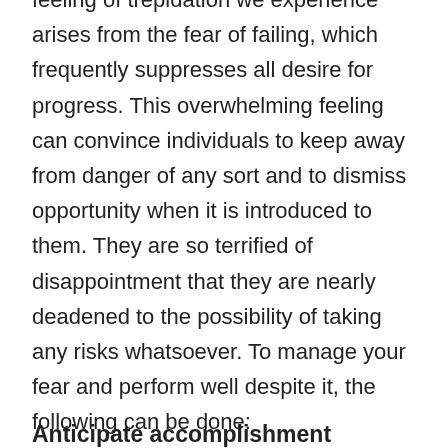feeling of trepidation we experience arises from the fear of failing, which frequently suppresses all desire for progress. This overwhelming feeling can convince individuals to keep away from danger of any sort and to dismiss opportunity when it is introduced to them. They are so terrified of disappointment that they are nearly deadened to the possibility of taking any risks whatsoever. To manage your fear and perform well despite it, the following can be done:
Anticipate accomplishment